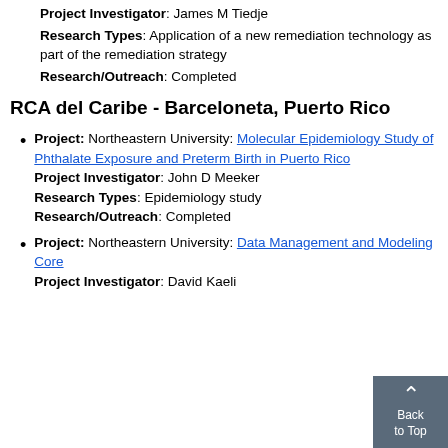Project Investigator: James M Tiedje
Research Types: Application of a new remediation technology as part of the remediation strategy
Research/Outreach: Completed
RCA del Caribe - Barceloneta, Puerto Rico
Project: Northeastern University: Molecular Epidemiology Study of Phthalate Exposure and Preterm Birth in Puerto Rico
Project Investigator: John D Meeker
Research Types: Epidemiology study
Research/Outreach: Completed
Project: Northeastern University: Data Management and Modeling Core
Project Investigator: David Kaeli